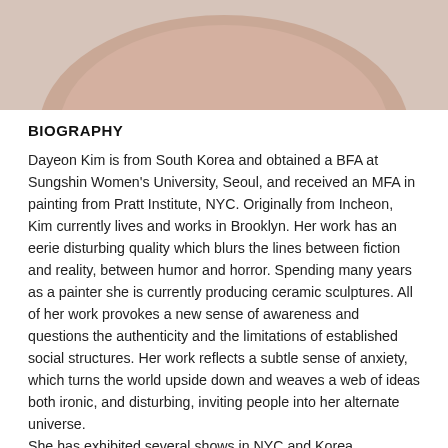[Figure (photo): Top portion of a ceramic sculpture or rounded form in a pinkish beige/nude color, shown against a light background]
BIOGRAPHY
Dayeon Kim is from South Korea and obtained a BFA at Sungshin Women's University, Seoul, and received an MFA in painting from Pratt Institute, NYC. Originally from Incheon, Kim currently lives and works in Brooklyn. Her work has an eerie disturbing quality which blurs the lines between fiction and reality, between humor and horror. Spending many years as a painter she is currently producing ceramic sculptures. All of her work provokes a new sense of awareness and questions the authenticity and the limitations of established social structures. Her work reflects a subtle sense of anxiety, which turns the world upside down and weaves a web of ideas both ironic, and disturbing, inviting people into her alternate universe.
She has exhibited several shows in NYC and Korea, presented performances at Brooklyn International Performance Art Festival, New York, Gwangju International Performance Art Festival, Korea, OPEN SPACE "Sinai"...